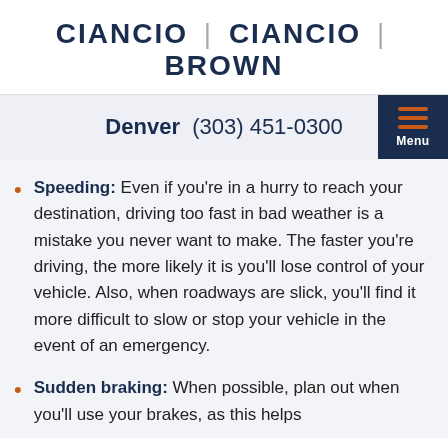CIANCIO | CIANCIO | BROWN
Denver  (303) 451-0300
Speeding: Even if you're in a hurry to reach your destination, driving too fast in bad weather is a mistake you never want to make. The faster you're driving, the more likely it is you'll lose control of your vehicle. Also, when roadways are slick, you'll find it more difficult to slow or stop your vehicle in the event of an emergency.
Sudden braking: When possible, plan out when you'll use your brakes, as this helps